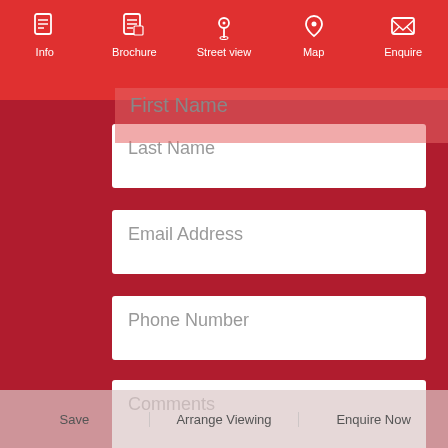Info | Brochure | Street view | Map | Enquire
First Name
Last Name
Email Address
Phone Number
Comments
Save | Arrange Viewing | Enquire Now